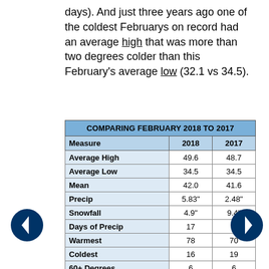days). And just three years ago one of the coldest Februarys on record had an average high that was more than two degrees colder than this February's average low (32.1 vs 34.5).
| Measure | 2018 | 2017 |
| --- | --- | --- |
| Average High | 49.6 | 48.7 |
| Average Low | 34.5 | 34.5 |
| Mean | 42.0 | 41.6 |
| Precip | 5.83" | 2.48" |
| Snowfall | 4.9" | 9.4" |
| Days of Precip | 17 | 6 |
| Warmest | 78 | 70 |
| Coldest | 16 | 19 |
| 60+ Degrees | 6 | 6 |
| Highs of 32 or |  |  |